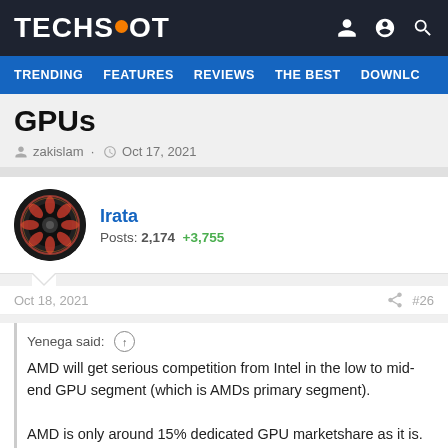TECHSPOT
TRENDING  FEATURES  REVIEWS  THE BEST  DOWNLC
GPUs
zakislam · Oct 17, 2021
Irata
Posts: 2,174  +3,755
Oct 18, 2021  #26
Yenega said: ↑

AMD will get serious competition from Intel in the low to mid-end GPU segment (which is AMDs primary segment).

AMD is only around 15% dedicated GPU marketshare as it is. I would not be suprised if AMD is below 10% in a few years unless they change their pricings. Barely anyone will choose AMD over Nvidia...